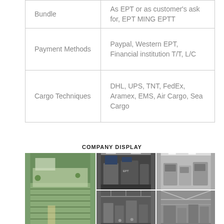|  |  |
| --- | --- |
| Bundle | As EPT or as customer's ask for, EPT MING EPTT |
| Payment Methods | Paypal, Western EPT, Financial institution T/T, L/C |
| Cargo Techniques | DHL, UPS, TNT, FedEx, Aramex, EMS, Air Cargo, Sea Cargo |
COMPANY DISPLAY
[Figure (photo): Company display collage showing aerial view of factory buildings with green roofs, interior manufacturing floor with CNC machines, lab/cleanroom environment, assembly floor, and industrial equipment in warehouse.]